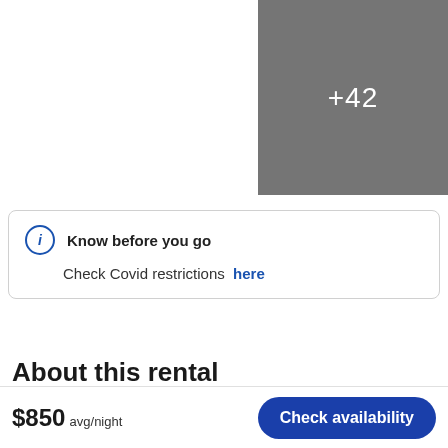[Figure (photo): Gray placeholder image area with '+42' text indicating 42 more photos]
Know before you go
Check Covid restrictions here
About this rental
House (Sleeps 12)
5168 sq. ft · 6 bedrooms · 7 bathrooms
$850 avg/night
Check availability